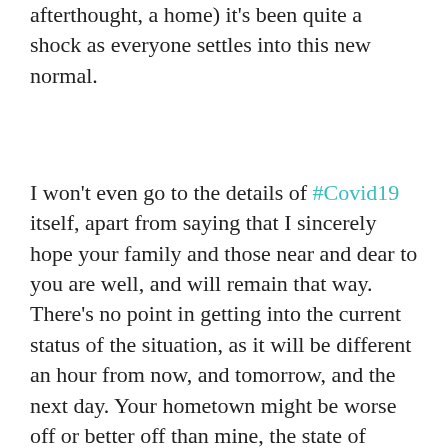afterthought, a home) it's been quite a shock as everyone settles into this new normal.
I won't even go to the details of #Covid19 itself, apart from saying that I sincerely hope your family and those near and dear to you are well, and will remain that way. There's no point in getting into the current status of the situation, as it will be different an hour from now, and tomorrow, and the next day. Your hometown might be worse off or better off than mine, the state of emergency you're experiencing might be more acute or less, you might have some help or none at all, younger kids or older ones; it's all relative. It's hard for everyone, in various ways.